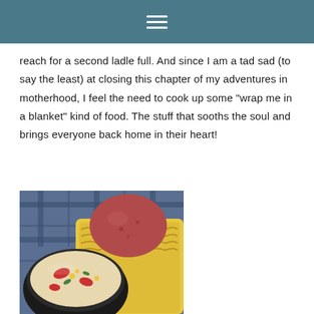≡
reach for a second ladle full. And since I am a tad sad (to say the least) at closing this chapter of my adventures in motherhood, I feel the need to cook up some "wrap me in a blanket" kind of food. The stuff that sooths the soul and brings everyone back home in their heart!
[Figure (photo): A bowl of creamy corn and potato chowder soup with red peppers and herbs, next to a red potato and ears of corn, placed on a blue plaid cloth background.]